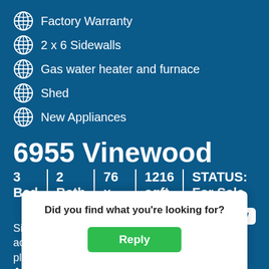Factory Warranty
2 x 6 Sidewalls
Gas water heater and furnace
Shed
New Appliances
6955 Vinewood
| Bed | Bath | Dimensions | sqft | Status |
| --- | --- | --- | --- | --- |
| 3 | 2 | 76 x 16 | 1216 | For Sale |
Site rent is $475.00 per month. Easy highway access. Trash removal, pool, snow plowing, and playground are included in site rent. We are … Aspire
Did you find what you're looking for?